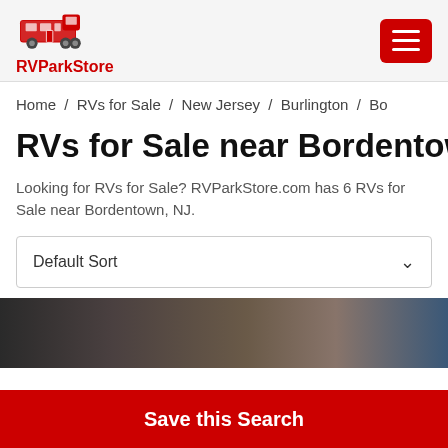RVParkStore
Home / RVs for Sale / New Jersey / Burlington / Bo
RVs for Sale near Bordentown, NJ
Looking for RVs for Sale? RVParkStore.com has 6 RVs for Sale near Bordentown, NJ.
Default Sort
[Figure (photo): Partial view of an RV listing photo showing interior/exterior elements]
Save this Search